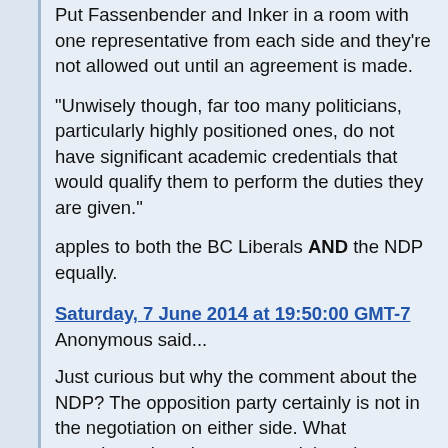Put Fassenbender and Inker in a room with one representative from each side and they're not allowed out until an agreement is made.
"Unwisely though, far too many politicians, particularly highly positioned ones, do not have significant academic credentials that would qualify them to perform the duties they are given."
apples to both the BC Liberals AND the NDP equally.
Saturday, 7 June 2014 at 19:50:00 GMT-7
Anonymous said...
Just curious but why the comment about the NDP? The opposition party certainly is not in the negotiation on either side. What experience has the present minister in negotiating a contract,especially one involving our kids? Regional bargaining worked better but the present...